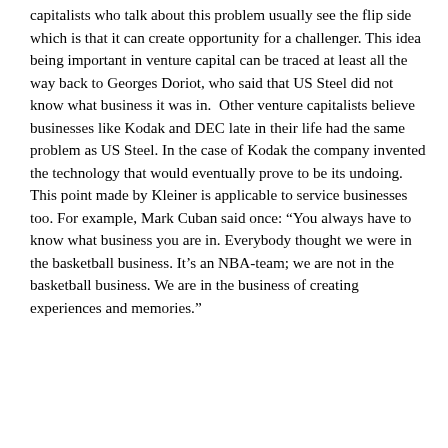capitalists who talk about this problem usually see the flip side which is that it can create opportunity for a challenger. This idea being important in venture capital can be traced at least all the way back to Georges Doriot, who said that US Steel did not know what business it was in.  Other venture capitalists believe businesses like Kodak and DEC late in their life had the same problem as US Steel. In the case of Kodak the company invented the technology that would eventually prove to be its undoing. This point made by Kleiner is applicable to service businesses too. For example, Mark Cuban said once: “You always have to know what business you are in. Everybody thought we were in the basketball business. It’s an NBA-team; we are not in the basketball business. We are in the business of creating experiences and memories.”